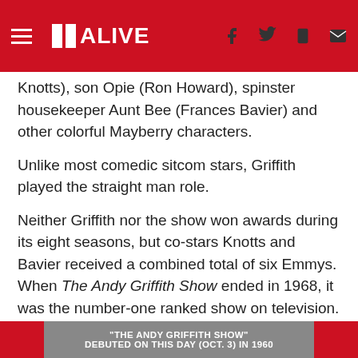11 ALIVE
Knotts), son Opie (Ron Howard), spinster housekeeper Aunt Bee (Frances Bavier) and other colorful Mayberry characters.
Unlike most comedic sitcom stars, Griffith played the straight man role.
Neither Griffith nor the show won awards during its eight seasons, but co-stars Knotts and Bavier received a combined total of six Emmys. When The Andy Griffith Show ended in 1968, it was the number-one ranked show on television. Many of its 249 episodes still appear in syndication.
DOWNLOAD THE WFMY NEWS 2 APP HERE!
More on TV in North Carolina's history is available on NCpedia.
"THE ANDY GRIFFITH SHOW" DEBUTED ON THIS DAY (OCT. 3) IN 1960